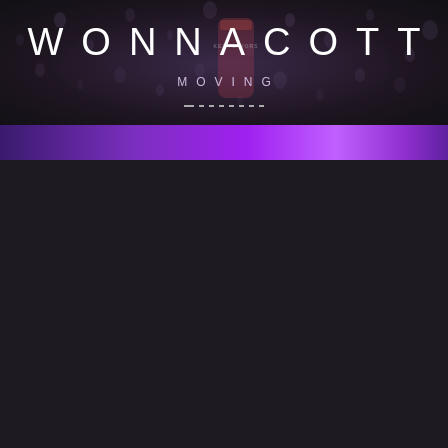[Figure (illustration): Music single cover art for 'Moving' by Wonnacott. Dark moody background with water droplets on a surface, purple/dark gradient tones. A beverage can silhouette is faintly visible in the upper center. A bright purple horizontal stripe runs across the lower portion of the image. Artist name 'WONNACOTT' in large white spaced letters, track title 'MOVING' below in smaller spaced letters, followed by a decorative dash-dot pattern. The lower half of the page is dark background.]
WONNACOTT
MOVING